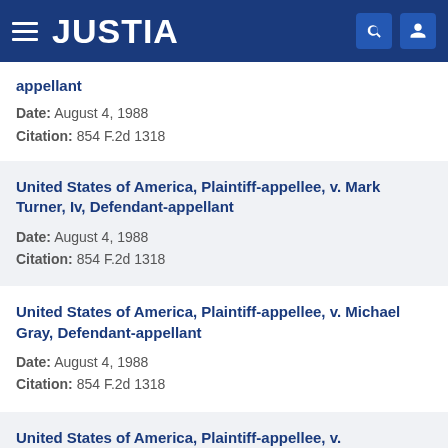JUSTIA
appellant
Date: August 4, 1988
Citation: 854 F.2d 1318
United States of America, Plaintiff-appellee, v. Mark Turner, Iv, Defendant-appellant
Date: August 4, 1988
Citation: 854 F.2d 1318
United States of America, Plaintiff-appellee, v. Michael Gray, Defendant-appellant
Date: August 4, 1988
Citation: 854 F.2d 1318
United States of America, Plaintiff-appellee, v.